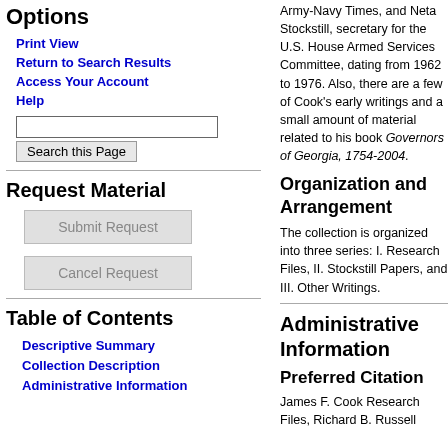Options
Print View
Return to Search Results
Access Your Account
Help
Request Material
Table of Contents
Descriptive Summary
Collection Description
Administrative Information
Army-Navy Times, and Neta Stockstill, secretary for the U.S. House Armed Services Committee, dating from 1962 to 1976. Also, there are a few of Cook's early writings and a small amount of material related to his book Governors of Georgia, 1754-2004.
Organization and Arrangement
The collection is organized into three series: I. Research Files, II. Stockstill Papers, and III. Other Writings.
Administrative Information
Preferred Citation
James F. Cook Research Files, Richard B. Russell